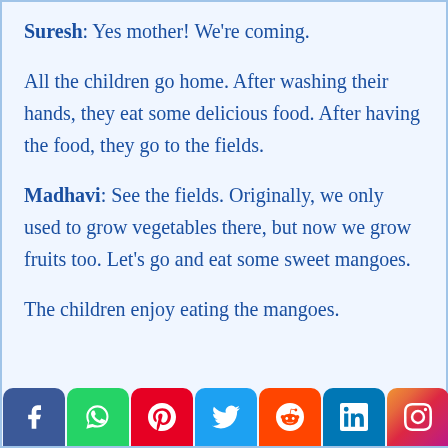Suresh: Yes mother! We're coming.
All the children go home. After washing their hands, they eat some delicious food. After having the food, they go to the fields.
Madhavi: See the fields. Originally, we only used to grow vegetables there, but now we grow fruits too. Let's go and eat some sweet mangoes.
The children enjoy eating the mangoes.
[Figure (other): Social media sharing bar with Facebook, WhatsApp, Pinterest, Twitter, Reddit, LinkedIn, and Instagram icons]